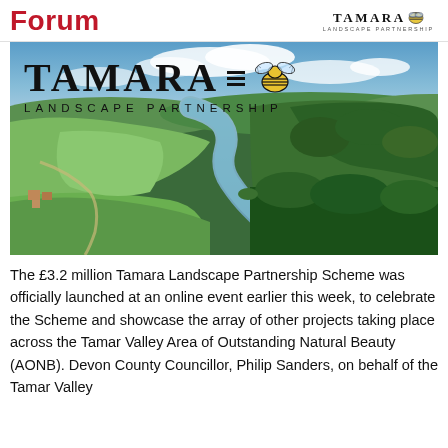Forum
[Figure (photo): Tamara Landscape Partnership banner with logo overlay and aerial photograph of the Tamar Valley river winding through green fields and woodland]
The £3.2 million Tamara Landscape Partnership Scheme was officially launched at an online event earlier this week, to celebrate the Scheme and showcase the array of other projects taking place across the Tamar Valley Area of Outstanding Natural Beauty (AONB). Devon County Councillor, Philip Sanders, on behalf of the Tamar Valley